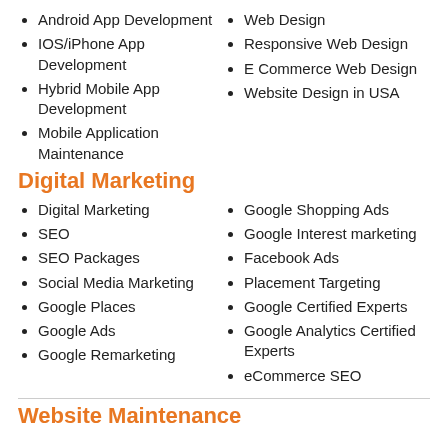Android App Development
IOS/iPhone App Development
Hybrid Mobile App Development
Mobile Application Maintenance
Web Design
Responsive Web Design
E Commerce Web Design
Website Design in USA
Digital Marketing
Digital Marketing
SEO
SEO Packages
Social Media Marketing
Google Places
Google Ads
Google Remarketing
Google Shopping Ads
Google Interest marketing
Facebook Ads
Placement Targeting
Google Certified Experts
Google Analytics Certified Experts
eCommerce SEO
Website Maintenance